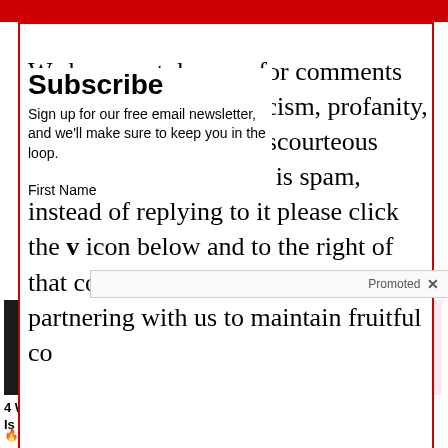COMMENT
We have no tolerance for comments containing violence, racism, profanity, vulgarity, doxing, or discourteous behavior. If a comment is spam, instead of replying to it please click the v icon below and to the right of that comment. Thank you for partnering with us to maintain fruitful co
Subscribe
Sign up for our free email newsletter, and we'll make sure to keep you in the loop.
First Name
Promoted ×
[Figure (photo): Close-up photo of yellowish fingers]
[Figure (photo): Dental illustration showing implants on pink gum]
4 Warning Signs Of Dementia (#2 Is Scary)
🔥 12,846
Think Dental Implants Are Expensive? Think Again (See Prices)
🔥 22,698